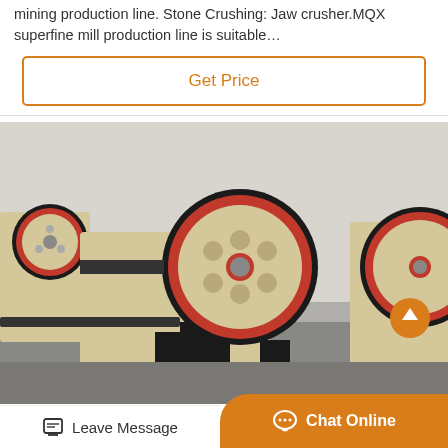mining production line. Stone Crushing: Jaw crusher.MQX superfine mill production line is suitable…
Get Price
[Figure (photo): Multiple jaw crushers with large red and black flywheel discs arranged in a row inside an industrial facility]
Leave Message
Chat Online